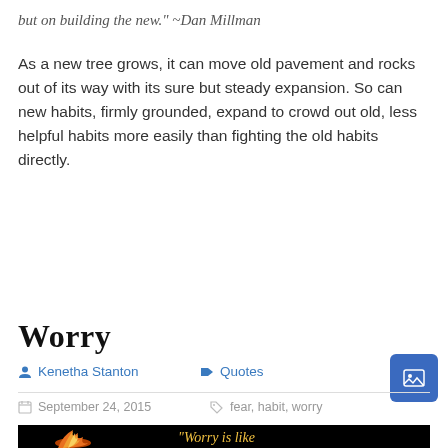but on building the new." ~Dan Millman
As a new tree grows, it can move old pavement and rocks out of its way with its sure but steady expansion. So can new habits, firmly grounded, expand to crowd out old, less helpful habits more easily than fighting the old habits directly.
Worry
Kenetha Stanton
Quotes
September 24, 2015
fear, habit, worry
[Figure (photo): Image showing flames on a black background with text 'Worry is like' in yellow/orange letters]